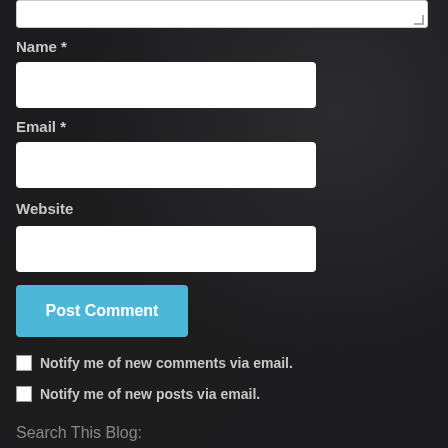[Figure (screenshot): Text area input box (partially visible at top)]
Name *
[Figure (screenshot): Name input field (white text box)]
Email *
[Figure (screenshot): Email input field (white text box)]
Website
[Figure (screenshot): Website input field (white text box)]
[Figure (screenshot): Post Comment button (cyan/blue)]
Notify me of new comments via email.
Notify me of new posts via email.
Search This Blog: